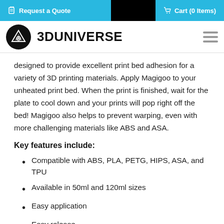Request a Quote | Cart (0 Items)
designed to provide excellent print bed adhesion for a variety of 3D printing materials. Apply Magigoo to your unheated print bed. When the print is finished, wait for the plate to cool down and your prints will pop right off the bed! Magigoo also helps to prevent warping, even with more challenging materials like ABS and ASA.
Key features include:
Compatible with ABS, PLA, PETG, HIPS, ASA, and TPU
Available in 50ml and 120ml sizes
Easy application
Easy release